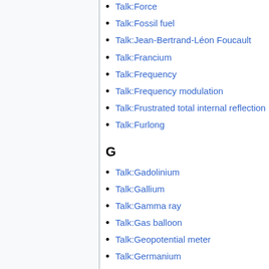Talk:Force
Talk:Fossil fuel
Talk:Jean-Bertrand-Léon Foucault
Talk:Francium
Talk:Frequency
Talk:Frequency modulation
Talk:Frustrated total internal reflection
Talk:Furlong
G
Talk:Gadolinium
Talk:Gallium
Talk:Gamma ray
Talk:Gas balloon
Talk:Geopotential meter
Talk:Germanium
Talk:Golay Coil
Talk:Grav-mass
Talk:Gray body